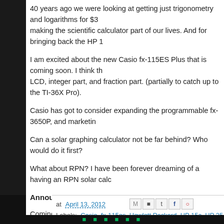40 years ago we were looking at getting just trigonometry and logarithms for $3... making the scientific calculator part of our lives. And for bringing back the HP 1...
I am excited about the new Casio fx-115ES Plus that is coming soon. I think th... LCD, integer part, and fraction part. (partially to catch up to the TI-36X Pro).
Casio has got to consider expanding the programmable fx-3650P, and marketin...
Can a solar graphing calculator not be far behind? Who would do it first?
What about RPN? I have been forever dreaming of a having an RPN solar calc...
Announcements
Coming at the end of April, I am anticipating April 30, 2012, I am going to post a... will last about a few weeks.
Have a good weekend everyone!
This blog is property of Edward Shore. © 2012
at April 13, 2012   Labels: Casio, fx-115es, Hewlett Packard, HP 15c, HP 35, Texas Instruments,